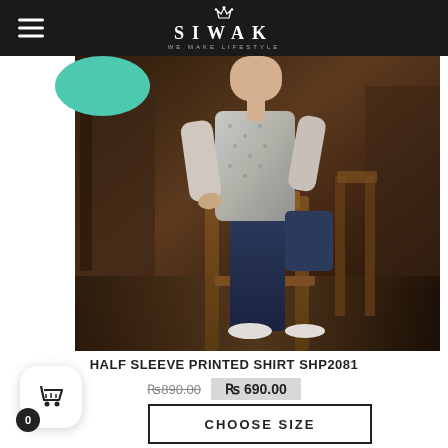SIWAK
[Figure (photo): Male model wearing a grey half sleeve printed shirt and dark jeans, seated on a wooden stool in a cafe/restaurant interior with warm wooden furniture and dark background]
HALF SLEEVE PRINTED SHIRT SHP2081
₨890.00  ₨690.00
CHOOSE SIZE